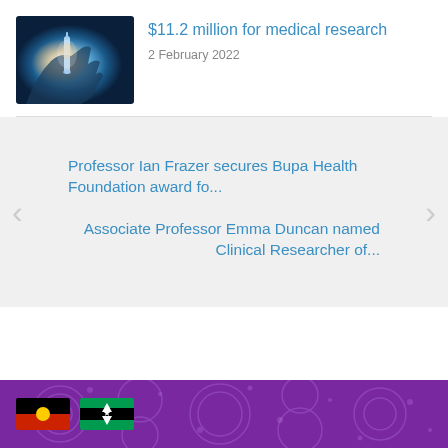[Figure (photo): Close-up photo of scientist/researcher holding a glowing vial or syringe, with blue glowing light, suggesting medical or laboratory research.]
$11.2 million for medical research
2 February 2022
Professor Ian Frazer secures Bupa Health Foundation award fo...
Associate Professor Emma Duncan named Clinical Researcher of...
[Figure (illustration): Footer banner with purple Aboriginal dot art pattern background, containing the Aboriginal flag (black top half, red bottom half, yellow circle) and Torres Strait Islander flag (blue with green stripes and white dhari/head dress symbol).]